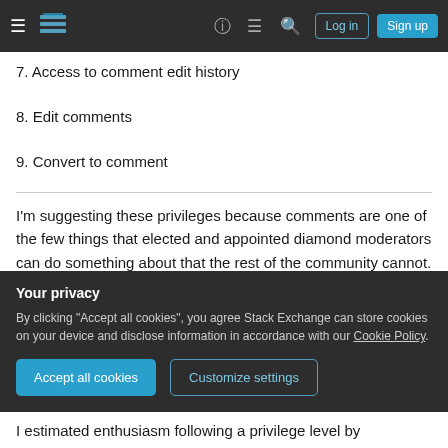Stack Exchange navigation header with Log in and Sign up buttons
7. Access to comment edit history
8. Edit comments
9. Convert to comment
I'm suggesting these privileges because comments are one of the few things that elected and appointed diamond moderators can do something about that the rest of the community cannot. Other than flagging, there's no way for regular users to fix problems with the comments on a post. Having a
Your privacy
By clicking "Accept all cookies", you agree Stack Exchange can store cookies on your device and disclose information in accordance with our Cookie Policy.
I estimated enthusiasm following a privilege level by